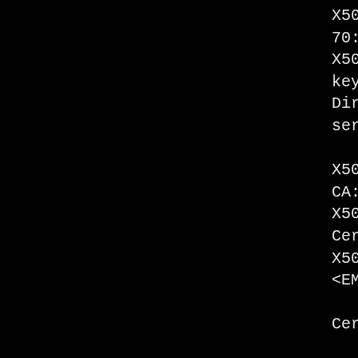X509v3 Subject Key Identi
70:3B:48:00:0B:6D:D7:84:F4
X509v3 Authority Key Ident
keyid:70:3B:48:00:0B:6D:D7
DirName:/C=AU/O=Dodgy Bro
serial:B2:AA:0F:53:92:FA:2

X509v3 Basic Constraints:
CA:TRUE, pathlen:1
X509v3 Key Usage:
Certificate Sign, CRL Sign
X509v3 Issuer Alternative
<EMPTY>

Certificate is to be cert

Write out database with 1
Data Base Updated
Generating a 2048 bit RSA

......................
..............+++
writing new private key to
-----
You are about to be asked